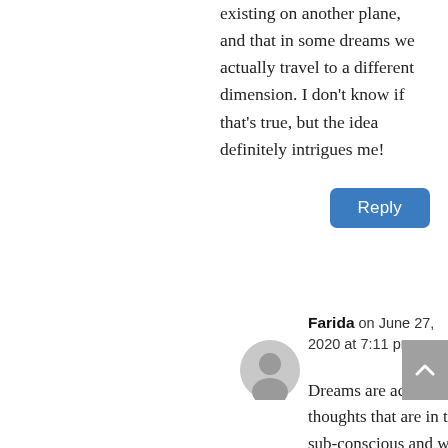existing on another plane, and that in some dreams we actually travel to a different dimension. I don't know if that's true, but the idea definitely intrigues me!
Reply
Farida on June 27, 2020 at 7:11 pm
Dreams are actually our thoughts that are in the sub-conscious and will